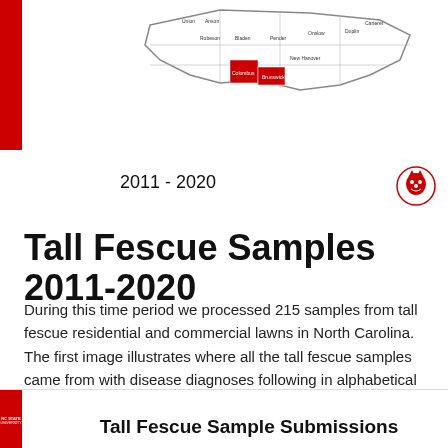[Figure (map): Map of North Carolina counties with some counties highlighted in red, showing where tall fescue samples were submitted from during 2011-2020. County names are labeled including Columbus, Brunswick, Bladen, Robeson, Pender, Onslow, Carteret and others.]
2011 - 2020
[Figure (logo): NC State University wolf head mascot logo in red]
Tall Fescue Samples 2011-2020
During this time period we processed 215 samples from tall fescue residential and commercial lawns in North Carolina. The first image illustrates where all the tall fescue samples came from with disease diagnoses following in alphabetical order.
[Figure (logo): NC State University logo badge in bottom left red bar]
Tall Fescue Sample Submissions